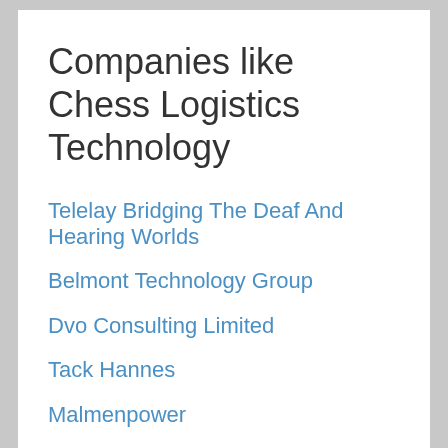Companies like Chess Logistics Technology
Telelay Bridging The Deaf And Hearing Worlds
Belmont Technology Group
Dvo Consulting Limited
Tack Hannes
Malmenpower
Tech Centre
Ugps
Permutable.Ai
Mos It